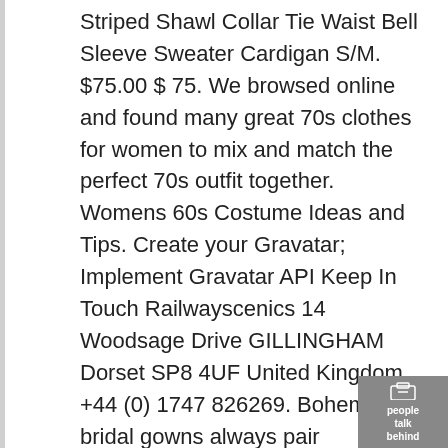Striped Shawl Collar Tie Waist Bell Sleeve Sweater Cardigan S/M. $75.00 $ 75. We browsed online and found many great 70s clothes for women to mix and match the perfect 70s outfit together. Womens 60s Costume Ideas and Tips. Create your Gravatar; Implement Gravatar API Keep In Touch Railwayscenics 14 Woodsage Drive GILLINGHAM Dorset SP8 4UF United Kingdom +44 (0) 1747 826269. Bohemian bridal gowns always pair seamlessly with vintage-themed weddings, with many dresses boasting '70's inspired bell sleeves and antique lace. Welcome to H&M, your shopping destination for fashion online. We offer fashion and quality at the best price in a more sustainable way. $7.50 shipping. ... Vintage 70s Striped Shawl Collar Tie Waist Bell Sleeve Sweater Cardigan S/M. One
[Figure (logo): Small grey badge/overlay in the bottom-right corner with an icon and the text 'people talk behind']